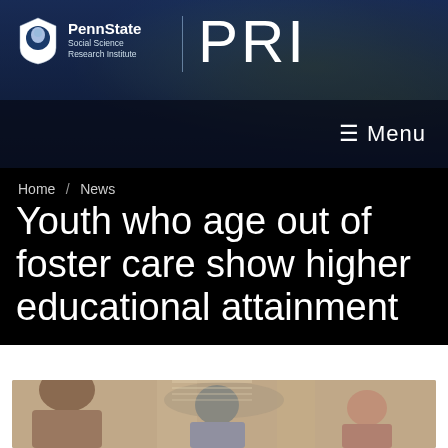PennState Social Science Research Institute | PRI
≡ Menu
Home / News
Youth who age out of foster care show higher educational attainment
[Figure (photo): Group of people in a counseling or meeting session, blurred background with warm tones, seen from behind one person facing others]